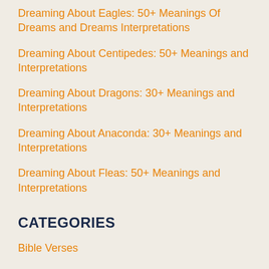Dreaming About Eagles: 50+ Meanings Of Dreams and Dreams Interpretations
Dreaming About Centipedes: 50+ Meanings and Interpretations
Dreaming About Dragons: 30+ Meanings and Interpretations
Dreaming About Anaconda: 30+ Meanings and Interpretations
Dreaming About Fleas: 50+ Meanings and Interpretations
CATEGORIES
Bible Verses